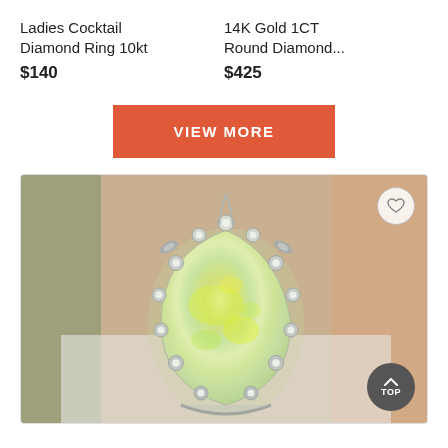Ladies Cocktail Diamond Ring 10kt
$140
14K Gold 1CT Round Diamond...
$425
VIEW MORE
[Figure (photo): Close-up photo of an opal ring with a large pear-shaped opal gemstone surrounded by a diamond and silver floral setting. The opal shows green and yellow iridescent colors. A heart/favorite icon appears in the top right and a dark 'TOP' scroll button in the bottom right corner.]